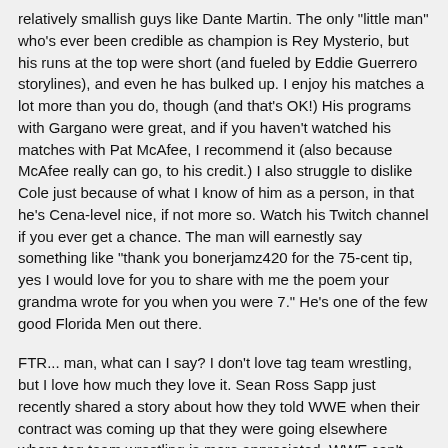relatively smallish guys like Dante Martin. The only "little man" who's ever been credible as champion is Rey Mysterio, but his runs at the top were short (and fueled by Eddie Guerrero storylines), and even he has bulked up. I enjoy his matches a lot more than you do, though (and that's OK!) His programs with Gargano were great, and if you haven't watched his matches with Pat McAfee, I recommend it (also because McAfee really can go, to his credit.) I also struggle to dislike Cole just because of what I know of him as a person, in that he's Cena-level nice, if not more so. Watch his Twitch channel if you ever get a chance. The man will earnestly say something like "thank you bonerjamz420 for the 75-cent tip, yes I would love for you to share with me the poem your grandma wrote for you when you were 7." He's one of the few good Florida Men out there.
FTR... man, what can I say? I don't love tag team wrestling, but I love how much they love it. Sean Ross Sapp just recently shared a story about how they told WWE when their contract was coming up that they were going elsewhere where tag team wrestling is more appreciated. WWE can't upping their contract offers, but the fed couldn't understand that it wasn't about money. They even offered a million a year, FTR turned it down, and that's when they got stuck with the stupid storylines about getting their backs shaved and Ucey Hot. The throwback theme that's a tribute to Midnight Express is very cool. We're obviously heading for an "All The Gold" match with the Bucks at the next PPV. Their first contest in AEW wasn't necessarily bad, but underwhelming.